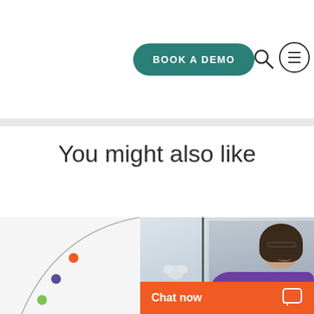[Figure (logo): Lithe logo - green circle with white text 'lithe']
[Figure (other): Navigation bar with 'BOOK A DEMO' teal button, search icon, and hamburger menu icon]
You might also like
[Figure (continuous-plot): Partial view of a line chart with colored data points (orange, purple, green) on a curved line]
[Figure (photo): Photo of a smiling Asian woman wearing glasses and a purple blazer, with flowers in background]
[Figure (other): Orange 'Chat now' button with chat bubble icon]